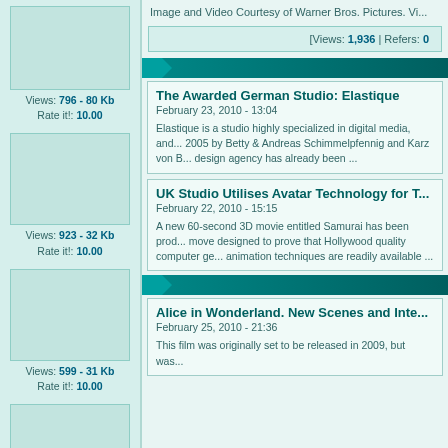Image and Video Courtesy of Warner Bros. Pictures. Vi...
[Views: 1,936 | Refers: 0
Views: 796 - 80 Kb
Rate it!: 10.00
Views: 923 - 32 Kb
Rate it!: 10.00
Views: 599 - 31 Kb
Rate it!: 10.00
Views: 703 - 55 Kb
Rate it!: 10.00
The Awarded German Studio: Elastique
February 23, 2010 - 13:04
Elastique is a studio highly specialized in digital media, and... 2005 by Betty & Andreas Schimmelpfennig and Karz von B... design agency has already been ...
UK Studio Utilises Avatar Technology for T...
February 22, 2010 - 15:15
A new 60-second 3D movie entitled Samurai has been prod... move designed to prove that Hollywood quality computer ge... animation techniques are readily available ...
Alice in Wonderland. New Scenes and Inte...
February 25, 2010 - 21:36
This film was originally set to be released in 2009, but was...